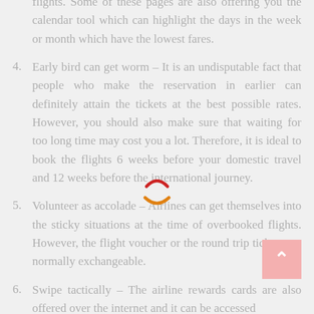calendar tool which can highlight the days in the week or month which have the lowest fares.
Early bird can get worm – It is an undisputable fact that people who make the reservation in earlier can definitely attain the tickets at the best possible rates. However, you should also make sure that waiting for too long time may cost you a lot. Therefore, it is ideal to book the flights 6 weeks before your domestic travel and 12 weeks before the international journey.
Volunteer as accolade – Airlines can get themselves into the sticky situations at the time of overbooked flights. However, the flight voucher or the round trip tickets are normally exchangeable.
Swipe tactically – The airline rewards cards are also offered over the internet and it can be accessed